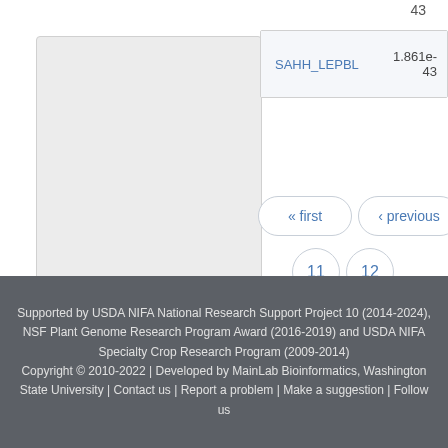|  |  |
| --- | --- |
| SAHH_LEPBL | 1.861e-43 |
43
« first
‹ previous
11
12
back to top
Supported by USDA NIFA National Research Support Project 10 (2014-2024), NSF Plant Genome Research Program Award (2016-2019) and USDA NIFA Specialty Crop Research Program (2009-2014) Copyright © 2010-2022 | Developed by MainLab Bioinformatics, Washington State University | Contact us | Report a problem | Make a suggestion | Follow us